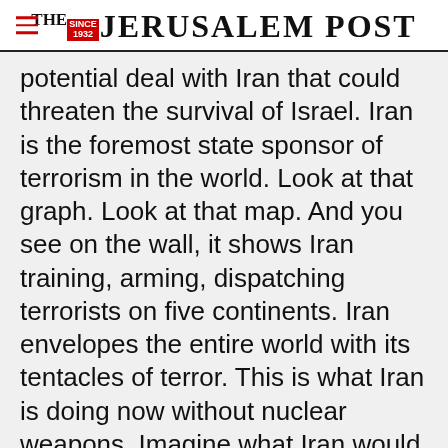THE JERUSALEM POST
potential deal with Iran that could threaten the survival of Israel. Iran is the foremost state sponsor of terrorism in the world. Look at that graph. Look at that map. And you see on the wall, it shows Iran training, arming, dispatching terrorists on five continents. Iran envelopes the entire world with its tentacles of terror. This is what Iran is doing now without nuclear weapons. Imagine what Iran would do with nuclear weapons
Advertisement